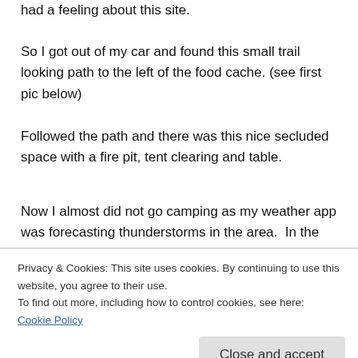had a feeling about this site.
So I got out of my car and found this small trail looking path to the left of the food cache. (see first pic below)
Followed the path and there was this nice secluded space with a fire pit, tent clearing and table.
Now I almost did not go camping as my weather app was forecasting thunderstorms in the area. In the end, still decided to go, but I was hoping it would not rain on our first night. Lord behold, the thunder started around 1 a.m. The thunder came loud and then a quick
Privacy & Cookies: This site uses cookies. By continuing to use this website, you agree to their use.
To find out more, including how to control cookies, see here:
Cookie Policy
Close and accept
but I forgot it on my dresser at home. So as it started